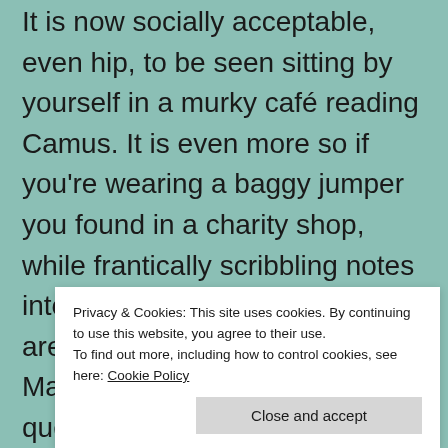It is now socially acceptable, even hip, to be seen sitting by yourself in a murky café reading Camus. It is even more so if you're wearing a baggy jumper you found in a charity shop, while frantically scribbling notes into your Moleskin notebook or are indeed staring into your MacBook. Not even questionable personal hygiene or unkempt hair are a safe indicator that the person next to you is a k... O... t... thighs and bingo wings, while buying the pretty
Privacy & Cookies: This site uses cookies. By continuing to use this website, you agree to their use. To find out more, including how to control cookies, see here: Cookie Policy
Close and accept